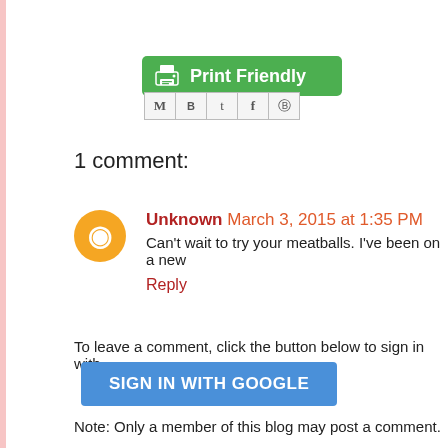[Figure (other): Print Friendly green button with printer icon]
[Figure (other): Social share icons: Email (M), Blogger (B), Twitter (t), Facebook (f), Pinterest (P)]
1 comment:
Unknown March 3, 2015 at 1:35 PM
Can't wait to try your meatballs. I've been on a new...
Reply
To leave a comment, click the button below to sign in with
SIGN IN WITH GOOGLE
Note: Only a member of this blog may post a comment.